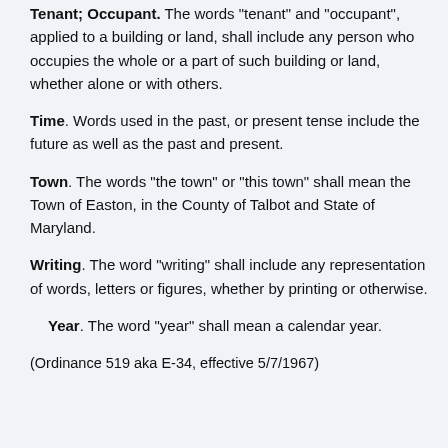Tenant; Occupant. The words "tenant" and "occupant", applied to a building or land, shall include any person who occupies the whole or a part of such building or land, whether alone or with others.
Time. Words used in the past, or present tense include the future as well as the past and present.
Town. The words "the town" or "this town" shall mean the Town of Easton, in the County of Talbot and State of Maryland.
Writing. The word "writing" shall include any representation of words, letters or figures, whether by printing or otherwise.
Year. The word "year" shall mean a calendar year.
(Ordinance 519 aka E-34, effective 5/7/1967)